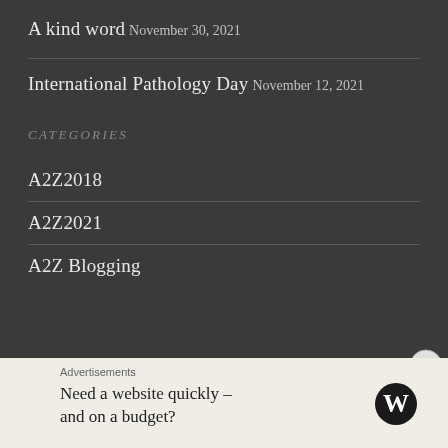A kind word
November 30, 2021
International Pathology Day
November 12, 2021
CATEGORIES
A2Z2018
A2Z2021
A2Z Blogging
Advertisements
Need a website quickly – and on a budget?